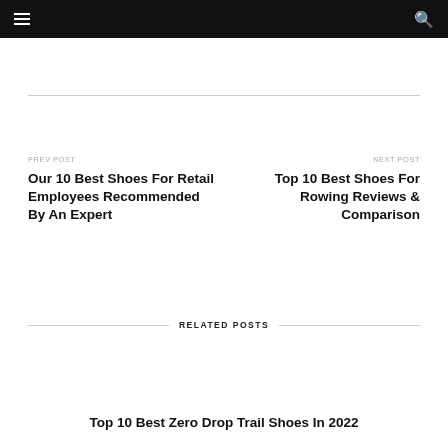≡  🔍
PREV POST
Our 10 Best Shoes For Retail Employees Recommended By An Expert
NEXT POST
Top 10 Best Shoes For Rowing Reviews & Comparison
RELATED POSTS
Top 10 Best Zero Drop Trail Shoes In 2022